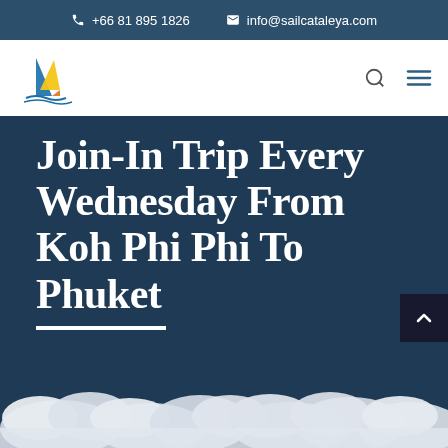+66 81 895 1826  info@sailcataleya.com
[Figure (logo): Sail Cataleya sailboat logo — colorful triangular sail in blue, yellow, and orange with water lines]
Join-In Trip Every Wednesday From Koh Phi Phi To Phuket